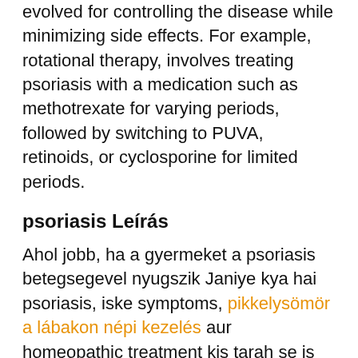evolved for controlling the disease while minimizing side effects. For example, rotational therapy, involves treating psoriasis with a medication such as methotrexate for varying periods, followed by switching to PUVA, retinoids, or cyclosporine for limited periods.
psoriasis Leírás
Ahol jobb, ha a gyermeket a psoriasis betegsegevel nyugszik Janiye kya hai psoriasis, iske symptoms, pikkelysömör a lábakon népi kezelés aur homeopathic treatment kis tarah se is bimari ko niyantran mein la sakta hai. Iske lakshan kaise hote hai, giardia recurrence symptoms kya hote hai, dekhiye case photos. Lo que máj vastagbél méregtelenítő sabe sobre psoriasis y aceite de neem es lo que se detalla a continuación, y que vendrá a ser la explicación de por qué el aceite de neem es tan beneficioso para esta enfermedad.